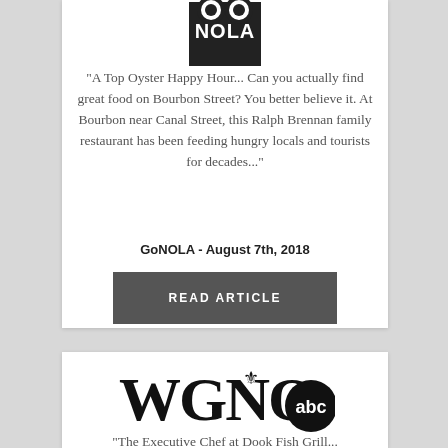[Figure (logo): GoNOLA logo - black square with white text NOLA]
"A Top Oyster Happy Hour... Can you actually find great food on Bourbon Street? You better believe it. At Bourbon near Canal Street, this Ralph Brennan family restaurant has been feeding hungry locals and tourists for decades..."
GoNOLA - August 7th, 2018
READ ARTICLE
[Figure (logo): WGNO abc logo - large serif WGNO text with fleur-de-lis and ABC circle logo]
"The Executive Chef at Dook Fish Grill...